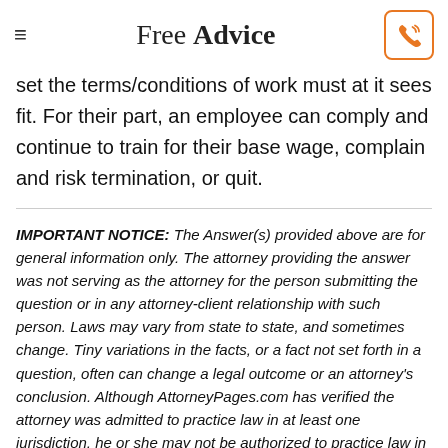Free Advice
set the terms/conditions of work must at it sees fit. For their part, an employee can comply and continue to train for their base wage, complain and risk termination, or quit.
IMPORTANT NOTICE: The Answer(s) provided above are for general information only. The attorney providing the answer was not serving as the attorney for the person submitting the question or in any attorney-client relationship with such person. Laws may vary from state to state, and sometimes change. Tiny variations in the facts, or a fact not set forth in a question, often can change a legal outcome or an attorney's conclusion. Although AttorneyPages.com has verified the attorney was admitted to practice law in at least one jurisdiction, he or she may not be authorized to practice law in the jurisdiction referred to in the question, nor is he or she necessarily experienced in the